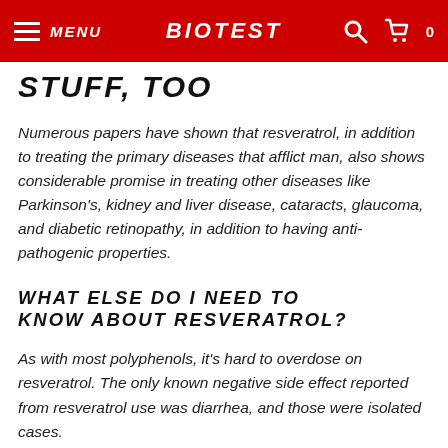MENU | BIOTEST | 0
STUFF, TOO
Numerous papers have shown that resveratrol, in addition to treating the primary diseases that afflict man, also shows considerable promise in treating other diseases like Parkinson's, kidney and liver disease, cataracts, glaucoma, and diabetic retinopathy, in addition to having anti-pathogenic properties.
WHAT ELSE DO I NEED TO KNOW ABOUT RESVERATROL?
As with most polyphenols, it's hard to overdose on resveratrol. The only known negative side effect reported from resveratrol use was diarrhea, and those were isolated cases.